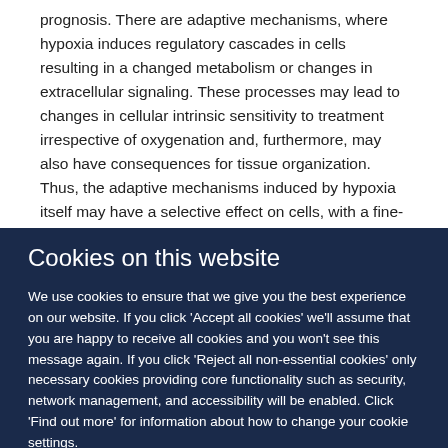prognosis. There are adaptive mechanisms, where hypoxia induces regulatory cascades in cells resulting in a changed metabolism or changes in extracellular signaling. These processes may lead to changes in cellular intrinsic sensitivity to treatment irrespective of oxygenation and, furthermore, may also have consequences for tissue organization. Thus, the adaptive mechanisms induced by hypoxia itself may have a selective effect on cells, with a fine-tuned protection against damage and stress of many kinds. It therefore could be that
Cookies on this website
We use cookies to ensure that we give you the best experience on our website. If you click 'Accept all cookies' we'll assume that you are happy to receive all cookies and you won't see this message again. If you click 'Reject all non-essential cookies' only necessary cookies providing core functionality such as security, network management, and accessibility will be enabled. Click 'Find out more' for information about how to change your cookie settings.